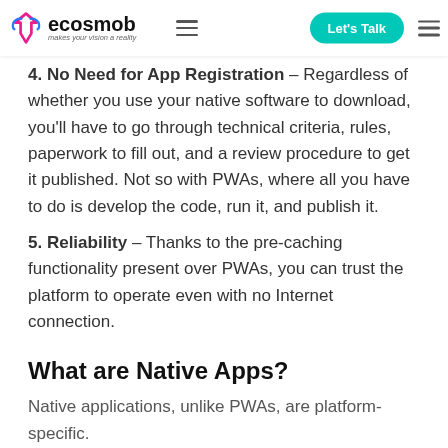ecosmob — makes your vision a reality | Let's Talk
4. No Need for App Registration – Regardless of whether you use your native software to download, you'll have to go through technical criteria, rules, paperwork to fill out, and a review procedure to get it published. Not so with PWAs, where all you have to do is develop the code, run it, and publish it.
5. Reliability – Thanks to the pre-caching functionality present over PWAs, you can trust the platform to operate even with no Internet connection.
What are Native Apps?
Native applications, unlike PWAs, are platform-specific.